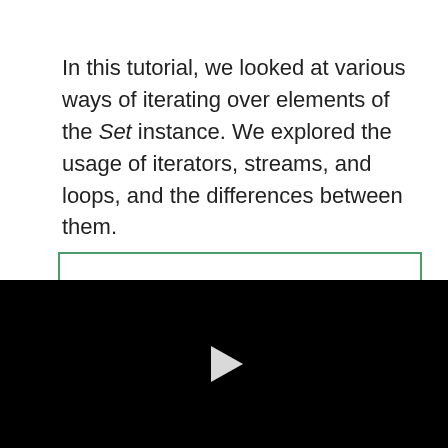In this tutorial, we looked at various ways of iterating over elements of the Set instance. We explored the usage of iterators, streams, and loops, and the differences between them.

As always, examples are available over GitHub.
[Figure (other): Partially visible video player with a green border at top and black background with a white play button triangle in the center]